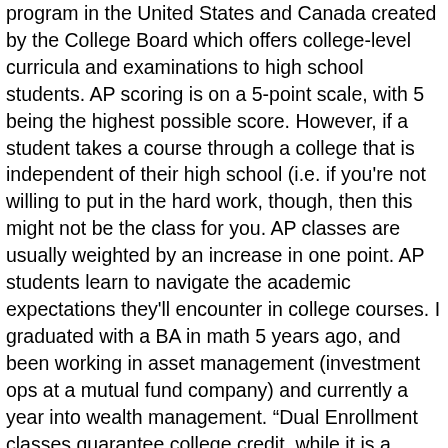program in the United States and Canada created by the College Board which offers college-level curricula and examinations to high school students. AP scoring is on a 5-point scale, with 5 being the highest possible score. However, if a student takes a course through a college that is independent of their high school (i.e. if you're not willing to put in the hard work, though, then this might not be the class for you. AP classes are usually weighted by an increase in one point. AP students learn to navigate the academic expectations they'll encounter in college courses. I graduated with a BA in math 5 years ago, and been working in asset management (investment ops at a mutual fund company) and currently a year into wealth management. “Dual Enrollment classes guarantee college credit, while it is a possibility to receive college credit from an AP class because you must pass the exam with a 3 or better. And through taking AP Exams, students can earn college credit and placement. Upon completion of the course, students take a standardized AP